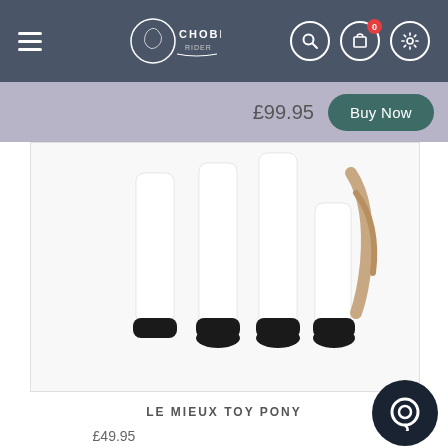Chobham Rider navigation bar with hamburger menu, logo, search, cart (0 items), and settings icons
£99.95
Buy Now
[Figure (photo): Close-up photo of white toy horse/pony legs with black hooves, showing four legs from approximately knee-down against a white background]
LE MIEUX TOY PONY
£49.95